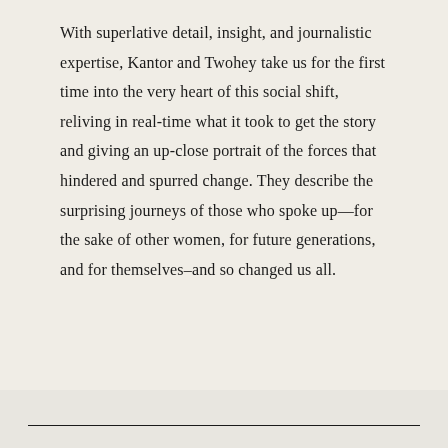With superlative detail, insight, and journalistic expertise, Kantor and Twohey take us for the first time into the very heart of this social shift, reliving in real-time what it took to get the story and giving an up-close portrait of the forces that hindered and spurred change. They describe the surprising journeys of those who spoke up—for the sake of other women, for future generations, and for themselves–and so changed us all.